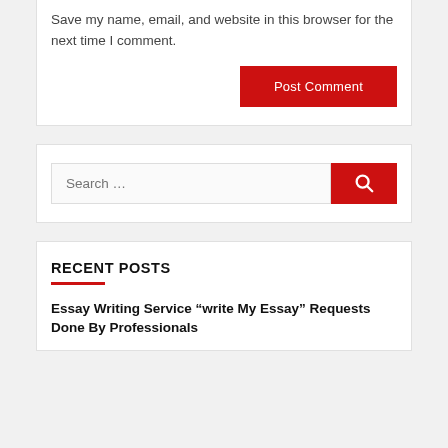Save my name, email, and website in this browser for the next time I comment.
Post Comment
Search …
RECENT POSTS
Essay Writing Service “write My Essay” Requests Done By Professionals